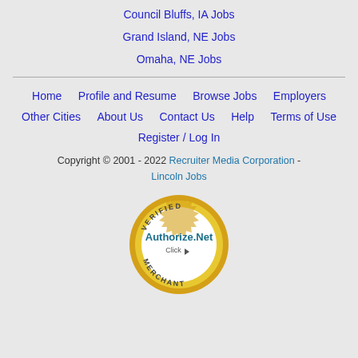Council Bluffs, IA Jobs
Grand Island, NE Jobs
Omaha, NE Jobs
Home
Profile and Resume
Browse Jobs
Employers
Other Cities
About Us
Contact Us
Help
Terms of Use
Register / Log In
Copyright © 2001 - 2022 Recruiter Media Corporation - Lincoln Jobs
[Figure (logo): Authorize.Net Verified Merchant badge — circular gold seal with 'VERIFIED' text at top, 'Authorize.Net' in teal in the center, 'Click' with arrow, and 'MERCHANT' at bottom]